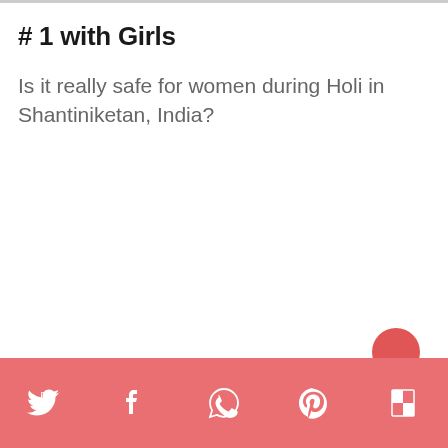# 1 with Girls
Is it really safe for women during Holi in Shantiniketan, India?
[Figure (other): Social sharing bar with Twitter, Facebook, WhatsApp, Pinterest, and Flipboard icons on a coral/salmon pink background]